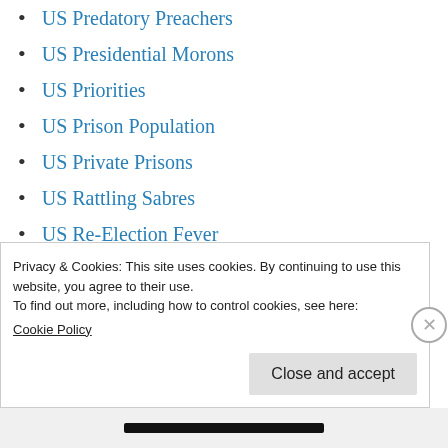US Predatory Preachers
US Presidential Morons
US Priorities
US Prison Population
US Private Prisons
US Rattling Sabres
US Re-Election Fever
US Regime Changers
US Religious Takeover
US Ridding Trump
US Rightwing Shift
Privacy & Cookies: This site uses cookies. By continuing to use this website, you agree to their use. To find out more, including how to control cookies, see here: Cookie Policy
Close and accept